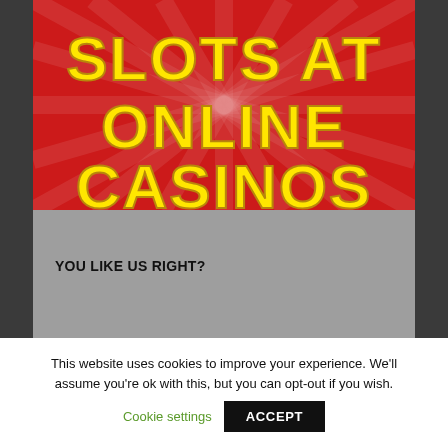[Figure (illustration): Casino promotional banner with red starburst background and bold yellow text reading 'MONEY SLOTS AT ONLINE CASINOS']
YOU LIKE US RIGHT?
This website uses cookies to improve your experience. We'll assume you're ok with this, but you can opt-out if you wish.
Cookie settings
ACCEPT